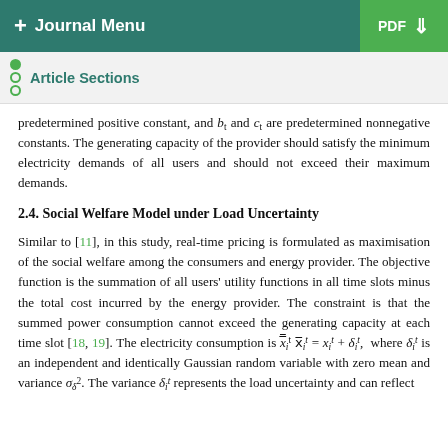+ Journal Menu   PDF ↓
Article Sections
predetermined positive constant, and b_t and c_t are predetermined nonnegative constants. The generating capacity of the provider should satisfy the minimum electricity demands of all users and should not exceed their maximum demands.
2.4. Social Welfare Model under Load Uncertainty
Similar to [11], in this study, real-time pricing is formulated as maximisation of the social welfare among the consumers and energy provider. The objective function is the summation of all users' utility functions in all time slots minus the total cost incurred by the energy provider. The constraint is that the summed power consumption cannot exceed the generating capacity at each time slot [18, 19]. The electricity consumption is x̄_i^t = x_i^t + δ_i^t, where δ_i^t is an independent and identically Gaussian random variable with zero mean and variance σ_δ^2. The variance δ_i^t represents the load uncertainty and can reflect